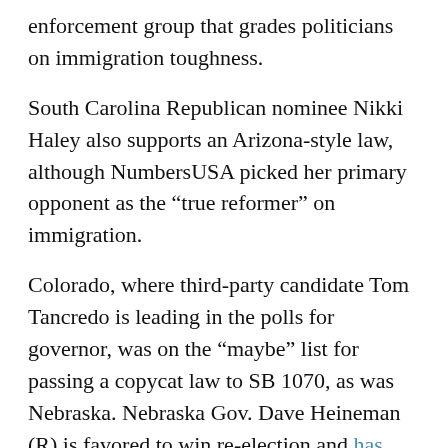enforcement group that grades politicians on immigration toughness.
South Carolina Republican nominee Nikki Haley also supports an Arizona-style law, although NumbersUSA picked her primary opponent as the “true reformer” on immigration.
Colorado, where third-party candidate Tom Tancredo is leading in the polls for governor, was on the “maybe” list for passing a copycat law to SB 1070, as was Nebraska. Nebraska Gov. Dave Heineman (R) is favored to win re-election and has predicted Arizona-style laws in every state within the next year. But both states might lack support for immigration enforcement bills in their legislatures, according to Immigration